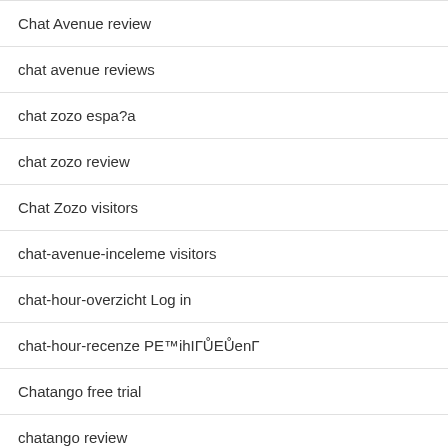| Chat Avenue review |
| chat avenue reviews |
| chat zozo espa?a |
| chat zozo review |
| Chat Zozo visitors |
| chat-avenue-inceleme visitors |
| chat-hour-overzicht Log in |
| chat-hour-recenze PE™ihIГŮEŮenГ |
| Chatango free trial |
| chatango review |
| Chatango visitors |